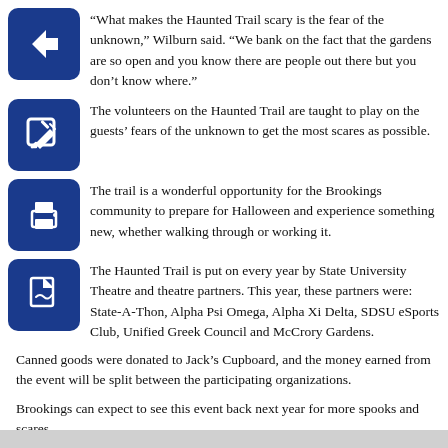“What makes the Haunted Trail scary is the fear of the unknown,” Wilburn said. “We bank on the fact that the gardens are so open and you know there are people out there but you don’t know where.”
The volunteers on the Haunted Trail are taught to play on the guests’ fears of the unknown to get the most scares as possible.
The trail is a wonderful opportunity for the Brookings community to prepare for Halloween and experience something new, whether walking through or working it.
The Haunted Trail is put on every year by State University Theatre and theatre partners. This year, these partners were: State-A-Thon, Alpha Psi Omega, Alpha Xi Delta, SDSU eSports Club, Unified Greek Council and McCrory Gardens.
Canned goods were donated to Jack’s Cupboard, and the money earned from the event will be split between the participating organizations.
Brookings can expect to see this event back next year for more spooks and scares.